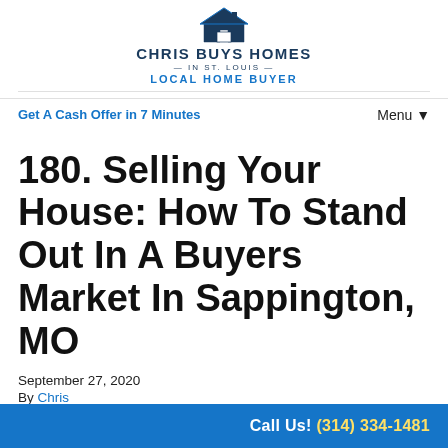[Figure (logo): Chris Buys Homes In St. Louis logo with house icon, text 'CHRIS BUYS HOMES IN ST. LOUIS' and 'LOCAL HOME BUYER']
Get A Cash Offer in 7 Minutes   Menu▼
180. Selling Your House: How To Stand Out In A Buyers Market In Sappington, MO
September 27, 2020
By Chris
We Buy Houses In Sappington, Missouri. Standing out in a buyers market can be a challenge when there is...
Call Us! (314) 334-1481